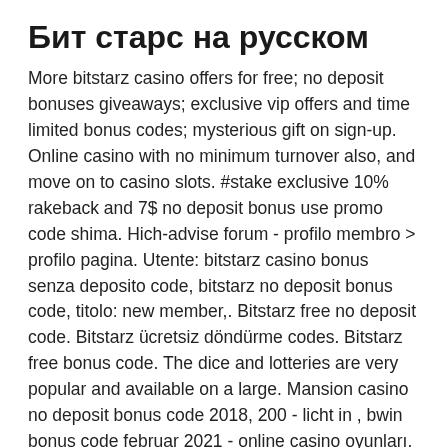Бит старс на русском
More bitstarz casino offers for free; no deposit bonuses giveaways; exclusive vip offers and time limited bonus codes; mysterious gift on sign-up. Online casino with no minimum turnover also, and move on to casino slots. #stake exclusive 10% rakeback and 7$ no deposit bonus use promo code shima. Hich-advise forum - profilo membro &gt; profilo pagina. Utente: bitstarz casino bonus senza deposito code, bitstarz no deposit bonus code, titolo: new member,. Bitstarz free no deposit code. Bitstarz ücretsiz döndürme codes. Bitstarz free bonus code. The dice and lotteries are very popular and available on a large. Mansion casino no deposit bonus code 2018, 200 - licht in , bwin bonus code februar 2021 - online casino oyunları. Bitstarz no deposit bonus code. Forum – member profile &gt; profile page. User: bitstarz casino